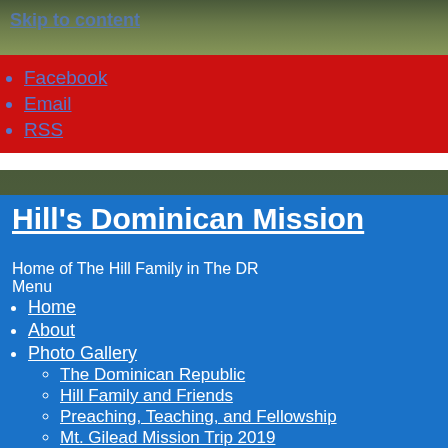[Figure (photo): Nature/garden background photo with green foliage at top of page]
Facebook
Email
RSS
Hill's Dominican Mission
Home of The Hill Family in The DR
Menu
Home
About
Photo Gallery
The Dominican Republic
Hill Family and Friends
Preaching, Teaching, and Fellowship
Mt. Gilead Mission Trip 2019
Ministry Partners
Campamento Canaan
Imbert
Moca
Support